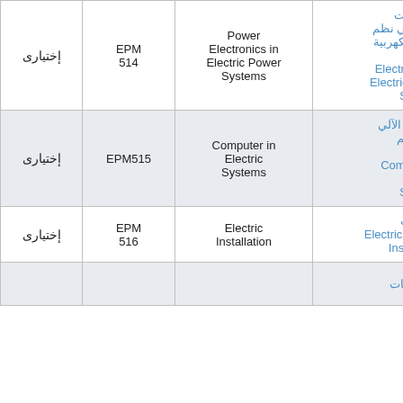| إختياری | Code | English Name | Course Name (Arabic/English) |
| --- | --- | --- | --- |
| إختياری | EPM 514 | Power Electronics in Electric Power Systems | إلكترونيات القوي في نظم القوي الكهربية / Power Electronics in Electric Power Systems |
| إختياری | EPM515 | Computer in Electric Systems | الحاسب الآلي في النظم الكهربية / Computer in Electric Systems |
| إختياری | EPM 516 | Electric Installation | التركيبات الكهربية / Electric Installation |
|  |  |  | إستخدامات |